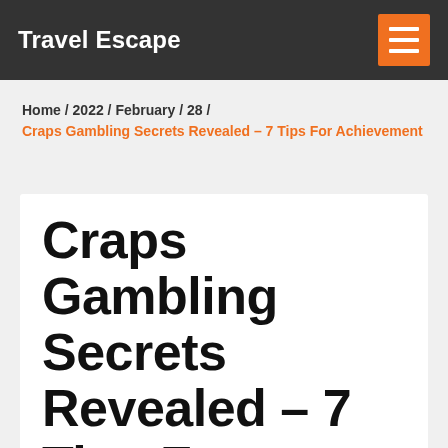Travel Escape
Home / 2022 / February / 28 / Craps Gambling Secrets Revealed – 7 Tips For Achievement
Craps Gambling Secrets Revealed – 7 Tips For Achievement
Posted on February 28, 2022  by boz28.com